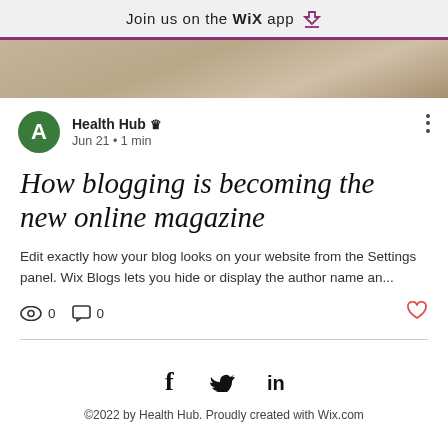Join us on the WiX app ⬇
[Figure (photo): Partial hero image of a person, blurred/cropped at top of article card]
Health Hub 👑
Jun 21 · 1 min
How blogging is becoming the new online magazine
Edit exactly how your blog looks on your website from the Settings panel. Wix Blogs lets you hide or display the author name an...
👁 0   💬 0   ♡
[Figure (infographic): Social media icons: Facebook (f), Twitter bird, LinkedIn (in)]
©2022 by Health Hub. Proudly created with Wix.com